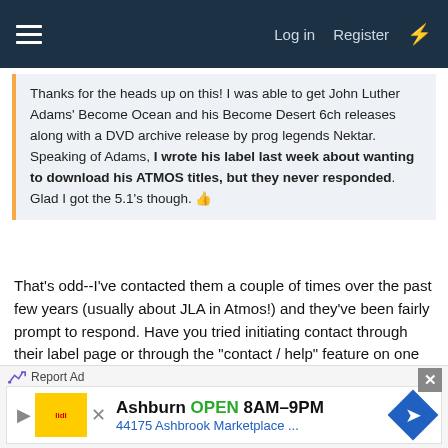Log in  Register
Thanks for the heads up on this! I was able to get John Luther Adams' Become Ocean and his Become Desert 6ch releases along with a DVD archive release by prog legends Nektar. Speaking of Adams, I wrote his label last week about wanting to download his ATMOS titles, but they never responded. Glad I got the 5.1's though. 👍
That's odd--I've contacted them a couple of times over the past few years (usually about JLA in Atmos!) and they've been fairly prompt to respond. Have you tried initiating contact through their label page or through the "contact / help" feature on one the Bandcamp pages?
[Figure (other): Bandcamp embed showing 'The Become Trilogy, by John Luther Adams' — 4 track album — johnlutheradams.bandcamp.com]
Report Ad | Ashburn OPEN 8AM–9PM 44175 Ashbrook Marketplace ...